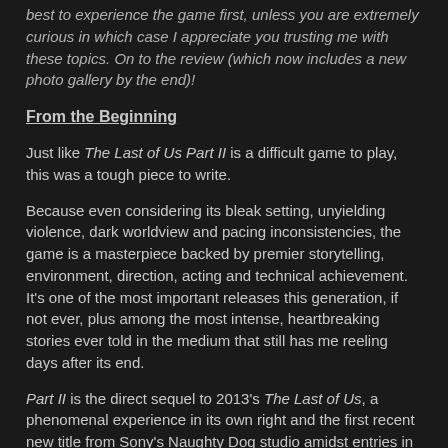best to experience the game first, unless you are extremely curious in which case I appreciate you trusting me with these topics. On to the review (which now includes a new photo gallery by the end)!
From the Beginning
Just like The Last of Us Part II is a difficult game to play, this was a tough piece to write.
Because even considering its bleak setting, unyielding violence, dark worldview and pacing inconsistencies, the game is a masterpiece backed by premier storytelling, environment, direction, acting and technical achievement. It's one of the most important releases this generation, if not ever, plus among the most intense, heartbreaking stories ever told in the medium that still has me reeling days after its end.
Part II is the direct sequel to 2013's The Last of Us, a phenomenal experience in its own right and the first recent new title from Sony's Naughty Dog studio amidst entries in the Uncharted series. This one is again a third-person